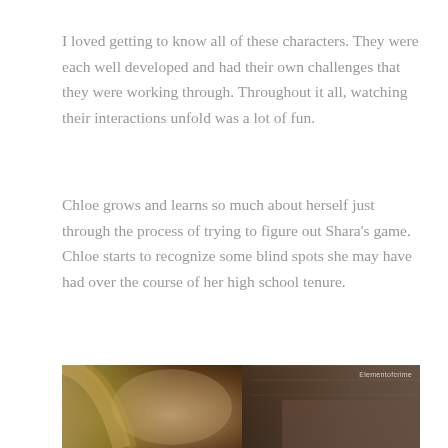I loved getting to know all of these characters. They were each well developed and had their own challenges that they were working through. Throughout it all, watching their interactions unfold was a lot of fun.
Chloe grows and learns so much about herself just through the process of trying to figure out Shara's game. Chloe starts to recognize some blind spots she may have had over the course of her high school tenure.
[Figure (photo): A young blonde woman looking slightly upward, photographed in a dim indoor setting with warm tones. A small watermark reading 'Elementofcrime' appears in the upper right corner of the image.]